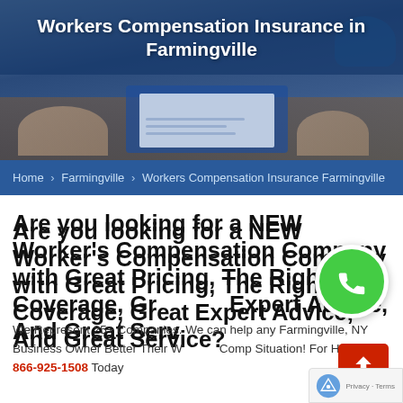[Figure (photo): Hero image showing hands with a clipboard/document on a wooden desk, with a blue hard hat visible, overlaid with a semi-transparent blue banner containing the page title.]
Workers Compensation Insurance in Farmingville
Home > Farmingville > Workers Compensation Insurance Farmingville
Are you looking for a NEW Worker's Compensation Company with Great Pricing, The Right Coverage, Great Expert Advice, And Great Service?
We Represent 25+ Companies. We can help any Farmingville, NY Business Owner Better Their Workers Comp Situation! For Help Call 866-925-1508 Today